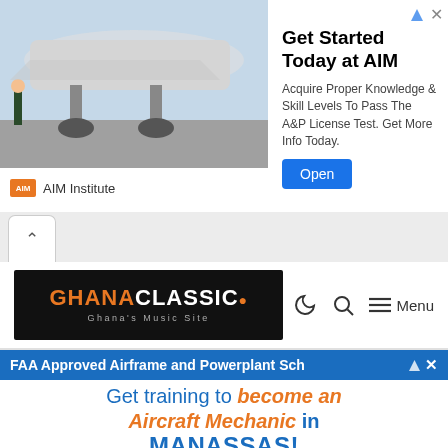[Figure (screenshot): Top advertisement banner for AIM Institute featuring an airplane image, AIM Institute logo, 'Get Started Today at AIM' headline, descriptive text about A&P License, and blue Open button]
[Figure (screenshot): Browser tab navigation area with a back chevron tab]
[Figure (logo): GhanaClassic website navigation bar with logo on black background showing 'GHANA CLASSIC' and 'Ghana's Music Site', plus moon/dark mode icon, search icon, and hamburger Menu]
[Figure (screenshot): Second advertisement for FAA Approved Airframe and Powerplant School - Aviation Institute of Maintenance, with text 'Get training to become an Aircraft Mechanic in MANASSAS!' and AIM logo]